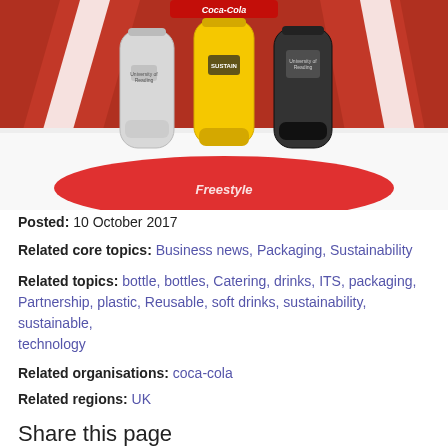[Figure (photo): Three reusable drinks bottles (silver/clear, yellow, dark/black) standing on a white surface in front of a red Coca-Cola branded background, with a red Coca-Cola Freestyle branded circular mat in the foreground.]
Posted: 10 October 2017
Related core topics: Business news, Packaging, Sustainability
Related topics: bottle, bottles, Catering, drinks, ITS, packaging, Partnership, plastic, Reusable, soft drinks, sustainability, sustainable, technology
Related organisations: coca-cola
Related regions: UK
Share this page